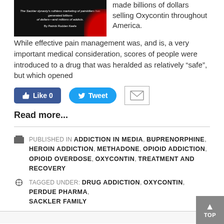[Figure (photo): Book cover with dark background and italic text referencing Sackler family and OxyContin marketing by Patrick Rodden Keefe, with red accent.]
made billions of dollars selling Oxycontin throughout America. While effective pain management was, and is, a very important medical consideration, scores of people were introduced to a drug that was heralded as relatively “safe”, but which opened
[Figure (other): Facebook Like button showing Like 0]
[Figure (other): Twitter Tweet button]
[Figure (other): Email envelope icon button]
Read more...
PUBLISHED IN ADDICTION IN MEDIA, BUPRENORPHINE, HEROIN ADDICTION, METHADONE, OPIOID ADDICTION, OPIOID OVERDOSE, OXYCONTIN, TREATMENT AND RECOVERY
TAGGED UNDER: DRUG ADDICTION, OXYCONTIN, PERDUE PHARMA, SACKLER FAMILY